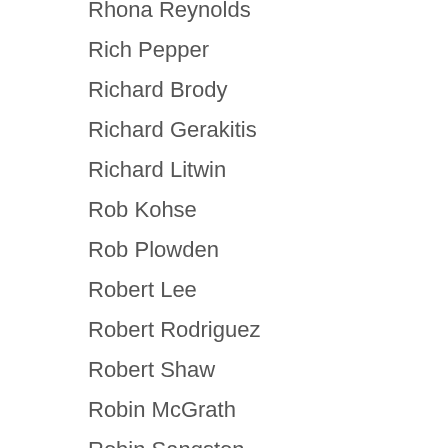Rhona Reynolds
Rich Pepper
Richard Brody
Richard Gerakitis
Richard Litwin
Rob Kohse
Rob Plowden
Robert Lee
Robert Rodriguez
Robert Shaw
Robin McGrath
Robin Sangston
Robyn Taylor
Rodgers Lunsford
Ron McKenzie
Ryan Behndleman
Ryan Schneider
Sabrina Fitze